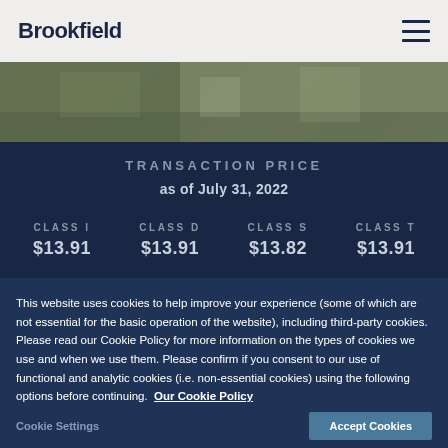Brookfield
[Figure (photo): Outdoor property/marina photo banner]
TRANSACTION PRICE
as of July 31, 2022
| CLASS I | CLASS D | CLASS S | CLASS T |
| --- | --- | --- | --- |
| $13.91 | $13.91 | $13.82 | $13.91 |
This website uses cookies to help improve your experience (some of which are not essential for the basic operation of the website), including third-party cookies. Please read our Cookie Policy for more information on the types of cookies we use and when we use them. Please confirm if you consent to our use of functional and analytic cookies (i.e. non-essential cookies) using the following options before continuing. Our Cookie Policy
Cookie Settings
Accept Cookies